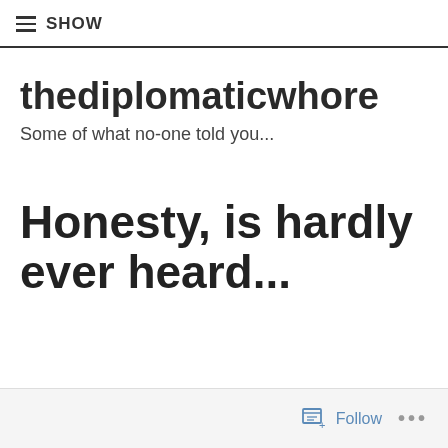☰ SHOW
thediplomatic whore
Some of what no-one told you...
Honesty, is hardly ever heard...
Follow ...